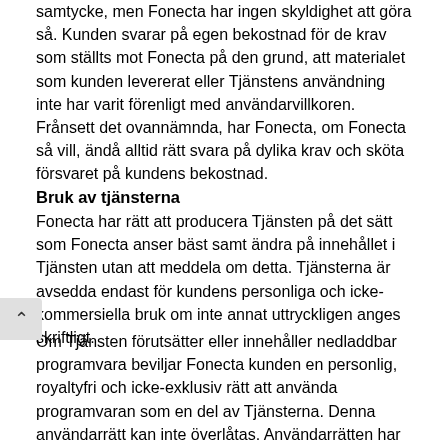samtycke, men Fonecta har ingen skyldighet att göra så. Kunden svarar på egen bekostnad för de krav som ställts mot Fonecta på den grund, att materialet som kunden levererat eller Tjänstens användning inte har varit förenligt med användarvillkoren. Frånsett det ovannämnda, har Fonecta, om Fonecta så vill, ändå alltid rätt svara på dylika krav och sköta försvaret på kundens bekostnad.
Bruk av tjänsterna
Fonecta har rätt att producera Tjänsten på det sätt som Fonecta anser bäst samt ändra på innehållet i Tjänsten utan att meddela om detta. Tjänsterna är avsedda endast för kundens personliga och icke-kommersiella bruk om inte annat uttryckligen anges skriftligt.
Om Tjänsten förutsätter eller innehåller nedladdbar programvara beviljar Fonecta kunden en personlig, royaltyfri och icke-exklusiv rätt att använda programvaran som en del av Tjänsterna. Denna användarrätt kan inte överlåtas. Användarrätten har som enda syfte att möjliggöra bruk av Tjänster som erbjuds av Fonecta i enlighet med dessa Användarvillkor. Kunden får inte kopiera, redigera, sprida, sälja